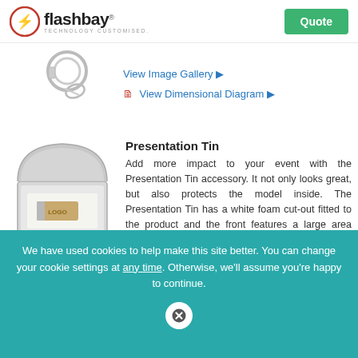[Figure (logo): Flashbay logo with lightning bolt icon and tagline TECHNOLOGY CUSTOMISED.]
Quote
[Figure (photo): Partial image of a keychain USB product]
View Image Gallery ▶
View Dimensional Diagram ▶
[Figure (photo): Open silver presentation tin containing a wooden USB flash drive with LOGO text]
Presentation Tin
Add more impact to your event with the Presentation Tin accessory. It not only looks great, but also protects the model inside. The Presentation Tin has a white foam cut-out fitted to the product and the front features a large area ready to be printed with your logo.
We have used cookies to help make this site better. You can change your cookie settings at any time. Otherwise, we'll assume you're happy to continue.